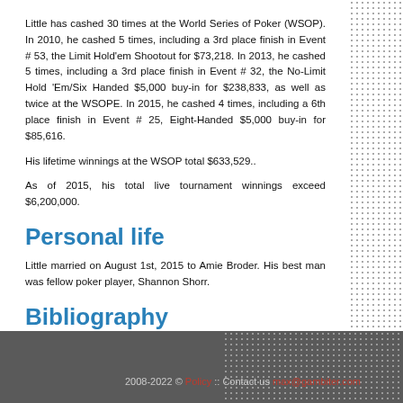Little has cashed 30 times at the World Series of Poker (WSOP). In 2010, he cashed 5 times, including a 3rd place finish in Event # 53, the Limit Hold'em Shootout for $73,218. In 2013, he cashed 5 times, including a 3rd place finish in Event # 32, the No-Limit Hold 'Em/Six Handed $5,000 buy-in for $238,833, as well as twice at the WSOPE. In 2015, he cashed 4 times, including a 6th place finish in Event # 25, Eight-Handed $5,000 buy-in for $85,616.
His lifetime winnings at the WSOP total $633,529..
As of 2015, his total live tournament winnings exceed $6,200,000.
Personal life
Little married on August 1st, 2015 to Amie Broder. His best man was fellow poker player, Shannon Shorr.
Bibliography
COMMENTS
2008-2022 © Policy :: Contact us max@gambiter.com